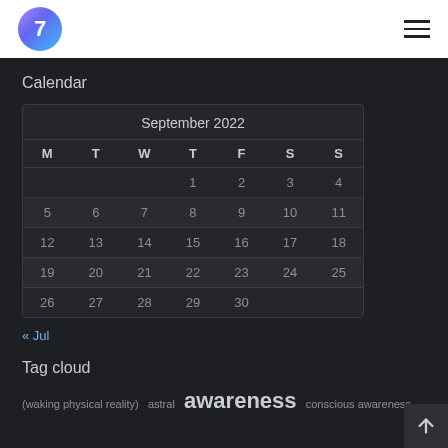7 (logo) with hamburger menu
Calendar
| M | T | W | T | F | S | S |
| --- | --- | --- | --- | --- | --- | --- |
|  |  |  | 1 | 2 | 3 | 4 |
| 5 | 6 | 7 | 8 | 9 | 10 | 11 |
| 12 | 13 | 14 | 15 | 16 | 17 | 18 |
| 19 | 20 | 21 | 22 | 23 | 24 | 25 |
| 26 | 27 | 28 | 29 | 30 |  |  |
« Jul
Tag cloud
(waking physical reality)  astral  awareness  conscious awareness